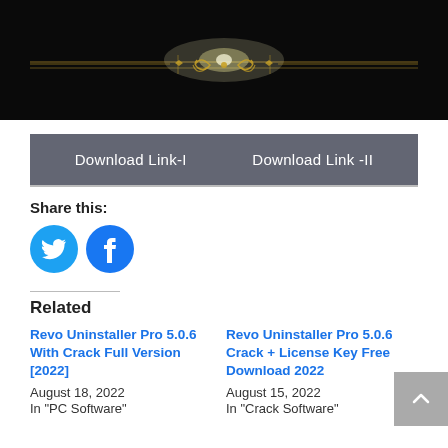[Figure (illustration): Dark banner image with golden ornamental divider design on black background, featuring glowing light and scroll decorations]
Download Link-I    Download Link -II
Share this:
[Figure (illustration): Twitter and Facebook social share circular icon buttons in blue]
Related
Revo Uninstaller Pro 5.0.6 With Crack Full Version [2022]
August 18, 2022
In "PC Software"
Revo Uninstaller Pro 5.0.6 Crack + License Key Free Download 2022
August 15, 2022
In "Crack Software"